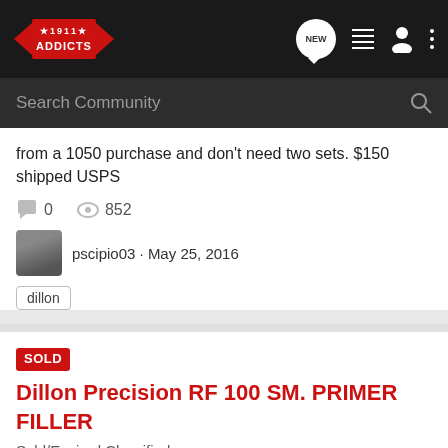[Figure (screenshot): 1911 Addicts forum website header navigation bar with logo, search bar, and icons]
from a 1050 purchase and don't need two sets. $150 shipped USPS
0   852
pscipio03 · May 25, 2016
dillon
SOLD Dillon Precision RF 100 SM. PRIMER FILLER
Sold/Expired Classifieds
I haver a like new Dillon Precision RF 100 SM. PRIMER FILLER, It has been lightly used and it's ready to ship. I've found that I actually like to pick up primer by hand. MSRP on this unit is $325.00 I'm asking $275 plus shipping